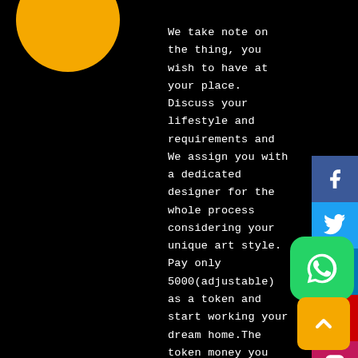[Figure (illustration): Partial yellow circle in top-left corner]
We take note on the thing, you wish to have at your place. Discuss your lifestyle and requirements and We assign you with a dedicated designer for the whole process considering your unique art style. Pay only 5000(adjustable) as a token and start working your dream home.The token money you are investing is refundable if things don't go as per your convenience.
[Figure (infographic): Social media sidebar icons: Facebook (blue), Twitter (cyan), LinkedIn (blue), YouTube (red), Instagram (pink/magenta), Pinterest (red), WhatsApp green rounded button, yellow up-arrow button]